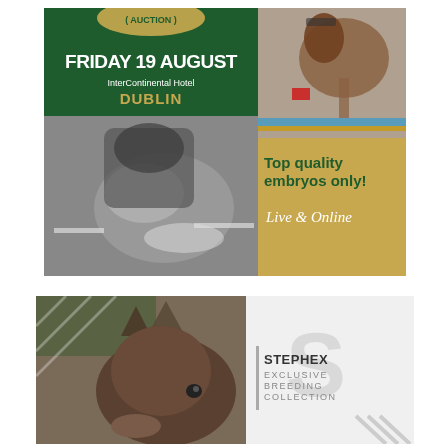[Figure (illustration): Horse auction advertisement showing 'FRIDAY 19 AUGUST, InterContinental Hotel DUBLIN' on a green background with equestrian show jumping photos. Right side gold panel reads 'Top quality embryos only! Live & Online']
[Figure (illustration): Stephex Exclusive Breeding Collection advertisement with a close-up photo of a foal on the left and the Stephex logo and text on the right grey panel]